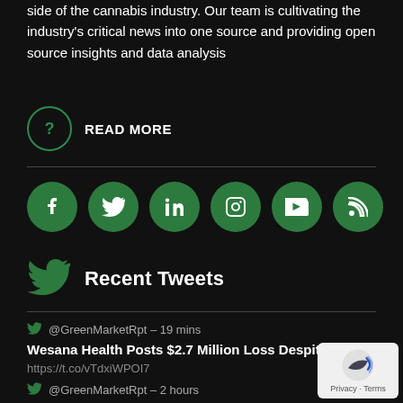side of the cannabis industry. Our team is cultivating the industry's critical news into one source and providing open source insights and data analysis
? READ MORE
[Figure (infographic): Row of 6 green circular social media icons: Facebook, Twitter, LinkedIn, Instagram, YouTube, RSS]
Recent Tweets
@GreenMarketRpt – 19 mins
Wesana Health Posts $2.7 Million Loss Despite Cuts
https://t.co/vTdxiWPOI7
@GreenMarketRpt – 2 hours